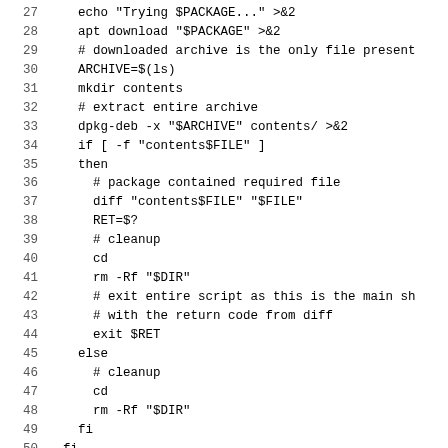Code listing lines 27-55 of a shell script